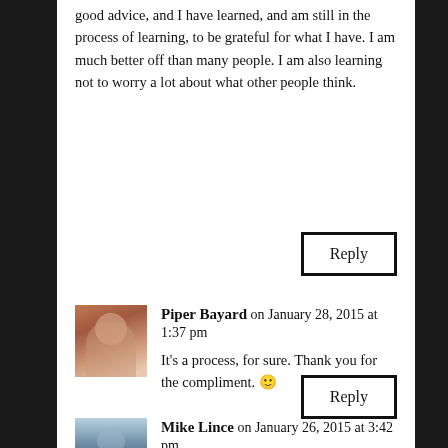good advice, and I have learned, and am still in the process of learning, to be grateful for what I have. I am much better off than many people. I am also learning not to worry a lot about what other people think.
Reply
Piper Bayard on January 28, 2015 at 1:37 pm
It's a process, for sure. Thank you for the compliment. 🙂
Reply
Mike Lince on January 26, 2015 at 3:42 pm
Good information, but 25 years too late to prevent my bitch face.